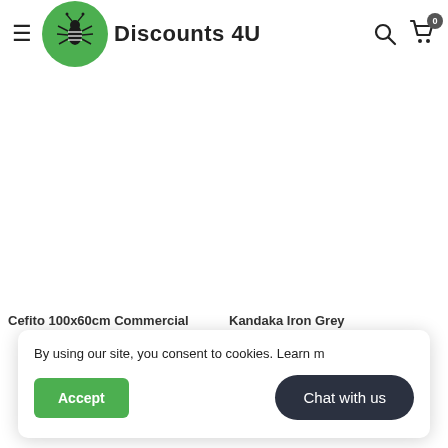Discounts 4U
Cefito 100x60cm Commercial
Kandaka Iron Grey
By using our site, you consent to cookies. Learn more
Accept
Chat with us